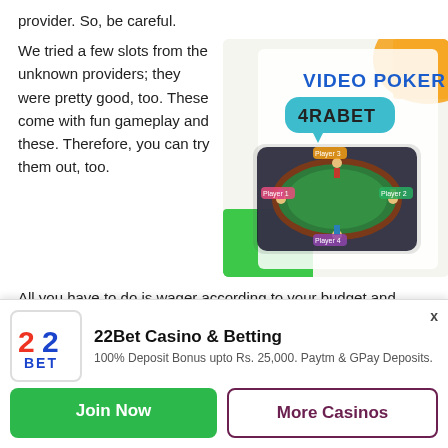provider. So, be careful.
We tried a few slots from the unknown providers; they were pretty good, too. These come with fun gameplay and these. Therefore, you can try them out, too.
[Figure (illustration): 4rabet Video Poker advertisement image showing a poker table on a smartphone with players, green and orange puzzle piece shapes in background, text 'VIDEO POKER' in blue and '4RABET' in black on teal speech bubble]
All you have to do is wager according to your budget and press the Spin button. Sure, there are some ways to
[Figure (logo): 22Bet logo — stylized '22' with red and blue colors, 'BET' text below in blue]
22Bet Casino & Betting
100% Deposit Bonus upto Rs. 25,000. Paytm & GPay Deposits.
Join Now
More Casinos